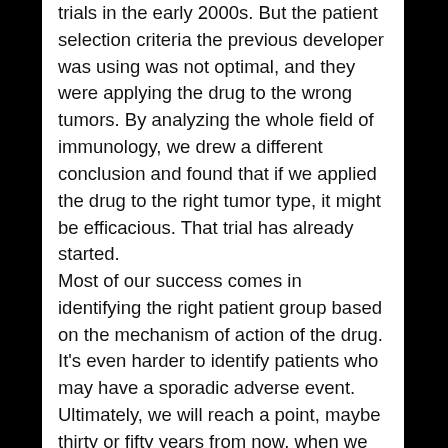trials in the early 2000s. But the patient selection criteria the previous developer was using was not optimal, and they were applying the drug to the wrong tumors. By analyzing the whole field of immunology, we drew a different conclusion and found that if we applied the drug to the right tumor type, it might be efficacious. That trial has already started.
Most of our success comes in identifying the right patient group based on the mechanism of action of the drug. It's even harder to identify patients who may have a sporadic adverse event. Ultimately, we will reach a point, maybe thirty or fifty years from now, when we will have enough data where artificial intelligence and machine learning will come in handy, so that we can predict those types of cases.